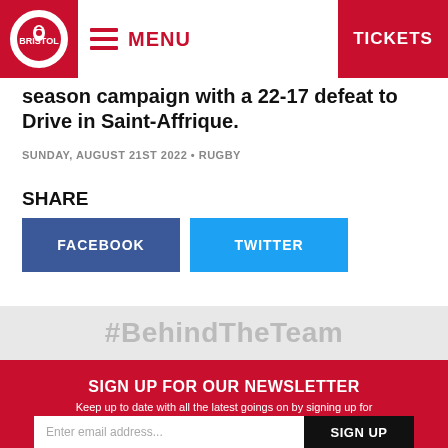MENU | TICKETS
season campaign with a 22-17 defeat to Drive in Saint-Affrique.
SUNDAY, AUGUST 21ST 2022 • RUGBY
SHARE
FACEBOOK
TWITTER
#BehindTheTeam
SIGN UP FOR OUR NEWSLETTER
Keep up to date with all the latest goings on by signing up for the Bristol City email newsletter.
Enter email address...  SIGN UP